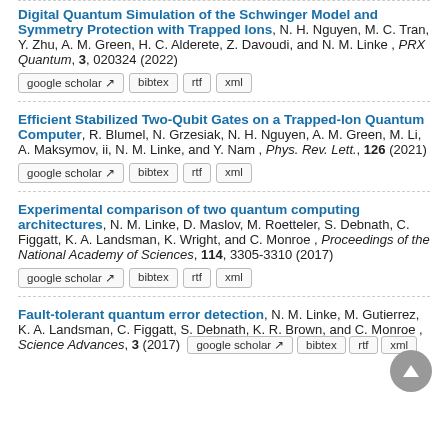Digital Quantum Simulation of the Schwinger Model and Symmetry Protection with Trapped Ions, N. H. Nguyen, M. C. Tran, Y. Zhu, A. M. Green, H. C. Alderete, Z. Davoudi, and N. M. Linke , PRX Quantum, 3, 020324 (2022)
Efficient Stabilized Two-Qubit Gates on a Trapped-Ion Quantum Computer, R. Blumel, N. Grzesiak, N. H. Nguyen, A. M. Green, M. Li, A. Maksymov, ii, N. M. Linke, and Y. Nam , Phys. Rev. Lett., 126 (2021)
Experimental comparison of two quantum computing architectures, N. M. Linke, D. Maslov, M. Roetteler, S. Debnath, C. Figgatt, K. A. Landsman, K. Wright, and C. Monroe , Proceedings of the National Academy of Sciences, 114, 3305-3310 (2017)
Fault-tolerant quantum error detection, N. M. Linke, M. Gutierrez, K. A. Landsman, C. Figgatt, S. Debnath, K. R. Brown, and C. Monroe , Science Advances, 3 (2017)